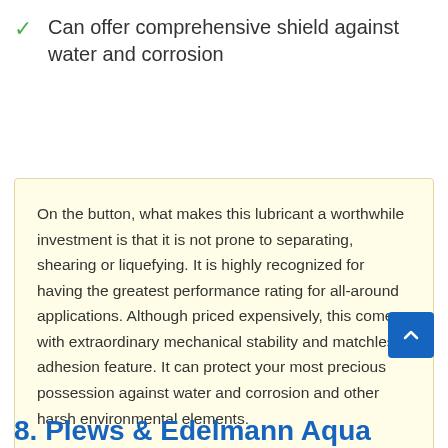Can offer comprehensive shield against water and corrosion
On the button, what makes this lubricant a worthwhile investment is that it is not prone to separating, shearing or liquefying. It is highly recognized for having the greatest performance rating for all-around applications. Although priced expensively, this comes with extraordinary mechanical stability and matchless adhesion feature. It can protect your most precious possession against water and corrosion and other harsh environmental elements.
8. Plews & Edelmann Aqua